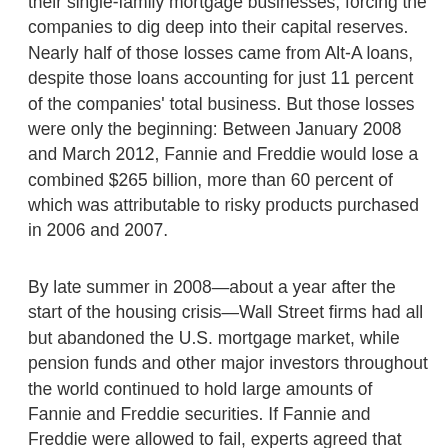their single-family mortgage businesses, forcing the companies to dig deep into their capital reserves. Nearly half of those losses came from Alt-A loans, despite those loans accounting for just 11 percent of the companies' total business. But those losses were only the beginning: Between January 2008 and March 2012, Fannie and Freddie would lose a combined $265 billion, more than 60 percent of which was attributable to risky products purchased in 2006 and 2007.
By late summer in 2008—about a year after the start of the housing crisis—Wall Street firms had all but abandoned the U.S. mortgage market, while pension funds and other major investors throughout the world continued to hold large amounts of Fannie and Freddie securities. If Fannie and Freddie were allowed to fail, experts agreed that the housing market would collapse even further, paralyzing the entire financial system. The Bush administration in